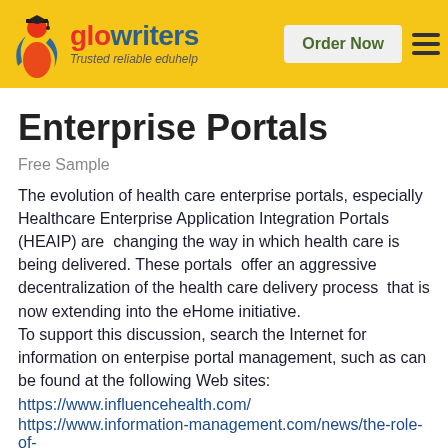glowriters — Trusted reliable eduhelp | Order Now
Enterprise Portals
Free Sample
The evolution of health care enterprise portals, especially Healthcare Enterprise Application Integration Portals (HEAIP) are changing the way in which health care is being delivered. These portals offer an aggressive decentralization of the health care delivery process that is now extending into the eHome initiative.
To support this discussion, search the Internet for information on enterpise portal management, such as can be found at the following Web sites:
https://www.influencehealth.com/
https://www.information-management.com/news/the-role-of-